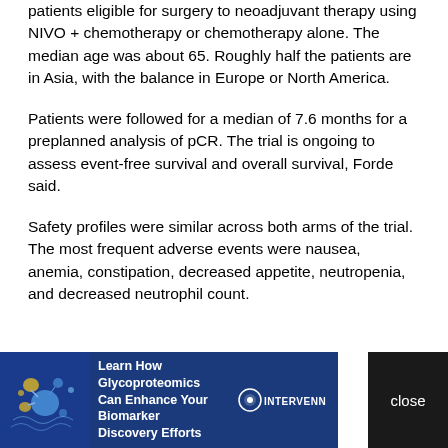patients eligible for surgery to neoadjuvant therapy using NIVO + chemotherapy or chemotherapy alone. The median age was about 65. Roughly half the patients are in Asia, with the balance in Europe or North America.
Patients were followed for a median of 7.6 months for a preplanned analysis of pCR. The trial is ongoing to assess event-free survival and overall survival, Forde said.
Safety profiles were similar across both arms of the trial. The most frequent adverse events were nausea, anemia, constipation, decreased appetite, neutropenia, and decreased neutrophil count.
[Figure (infographic): InterVenn advertisement banner: 'Learn How Glycoproteomics Can Enhance Your Biomarker Discovery Efforts' with molecular illustration and INTERVENN logo on blue background, with a close button.]